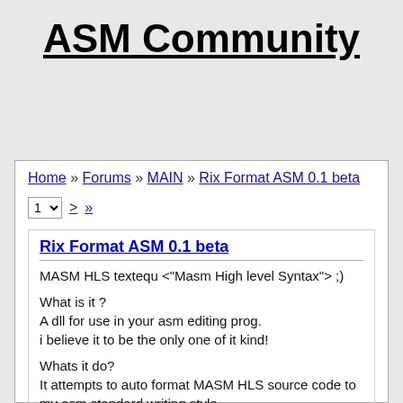ASM Community
Home » Forums » MAIN » Rix Format ASM 0.1 beta
1 > »
Rix Format ASM 0.1 beta
MASM HLS textequ <"Masm High level Syntax"> ;)

What is it ?
A dll for use in your asm editing prog.
i believe it to be the only one of it kind!

Whats it do?
It attempts to auto format MASM HLS source code to my asm standard writing style
so i can read and use other people's sources easier